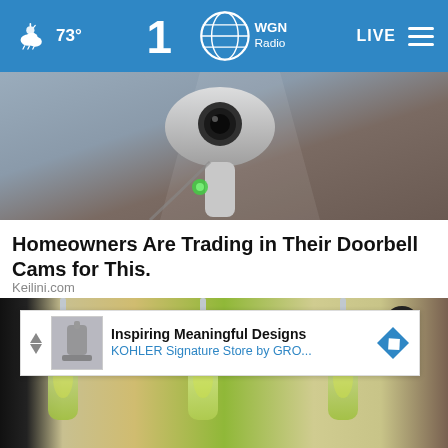73° WGN Radio LIVE
[Figure (photo): Close-up photo of a security camera device mounted, showing the lens and a green LED indicator light]
Homeowners Are Trading in Their Doorbell Cams for This.
Keilini.com
[Figure (photo): Photo showing multiple clear plastic bottles with yellow-green liquid contents, close-up view]
Inspiring Meaningful Designs
KOHLER Signature Store by GRO...